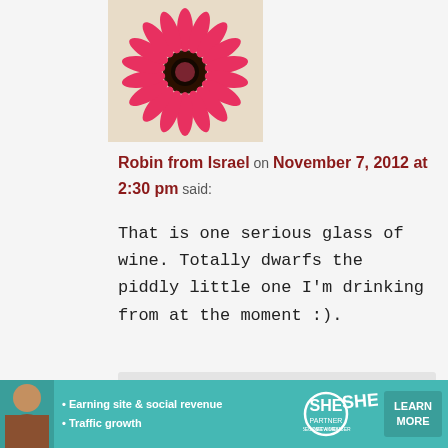[Figure (photo): Pink gerbera daisy flower photo used as commenter avatar]
Robin from Israel on November 7, 2012 at 2:30 pm said:
That is one serious glass of wine. Totally dwarfs the piddly little one I'm drinking from at the moment :).
[Figure (photo): Woman's headshot used as Stacy's avatar, with yellow stripe at bottom]
Stacy (the Random Cool Chick) on November 7, 2012 at 11:39 pm said:
AHAHAHA! That's funny, Robin! Sorry to put your glass to shame... 😉
[Figure (infographic): SHE Partner Network advertisement banner: Earning site & social revenue, Traffic growth, LEARN MORE button]